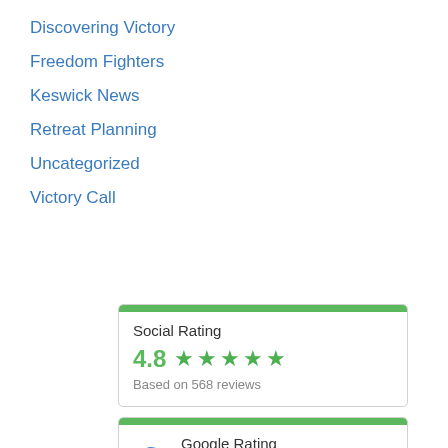Discovering Victory
Freedom Fighters
Keswick News
Retreat Planning
Uncategorized
Victory Call
Social Rating
4.8 ★★★★★
Based on 568 reviews
Google Rating
4.8 ★★★★★